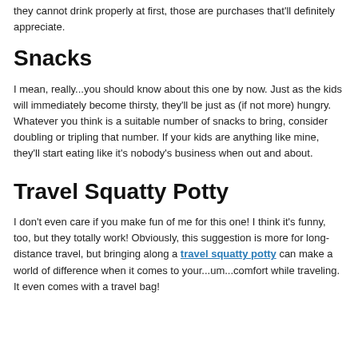they cannot drink properly at first, those are purchases that'll definitely appreciate.
Snacks
I mean, really...you should know about this one by now. Just as the kids will immediately become thirsty, they'll be just as (if not more) hungry. Whatever you think is a suitable number of snacks to bring, consider doubling or tripling that number. If your kids are anything like mine, they'll start eating like it's nobody's business when out and about.
Travel Squatty Potty
I don't even care if you make fun of me for this one! I think it's funny, too, but they totally work! Obviously, this suggestion is more for long-distance travel, but bringing along a travel squatty potty can make a world of difference when it comes to your...um...comfort while traveling. It even comes with a travel bag!